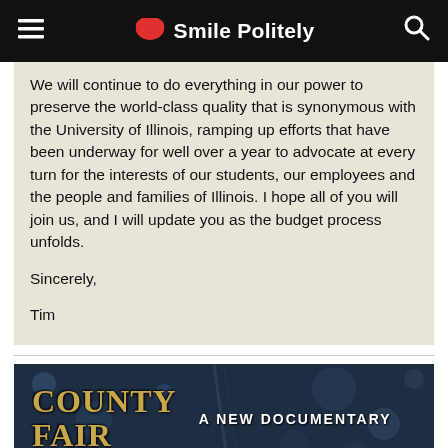Smile Politely
We will continue to do everything in our power to preserve the world-class quality that is synonymous with the University of Illinois, ramping up efforts that have been underway for well over a year to advocate at every turn for the interests of our students, our employees and the people and families of Illinois. I hope all of you will join us, and I will update you as the budget process unfolds.
Sincerely,
Tim
[Figure (illustration): Advertisement banner for 'County Fair: A New Documentary' with vintage-style typography on a dark blue/navy background with bokeh lights]